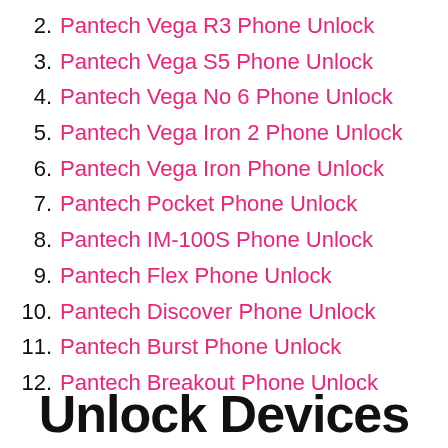2. Pantech Vega R3 Phone Unlock
3. Pantech Vega S5 Phone Unlock
4. Pantech Vega No 6 Phone Unlock
5. Pantech Vega Iron 2 Phone Unlock
6. Pantech Vega Iron Phone Unlock
7. Pantech Pocket Phone Unlock
8. Pantech IM-100S Phone Unlock
9. Pantech Flex Phone Unlock
10. Pantech Discover Phone Unlock
11. Pantech Burst Phone Unlock
12. Pantech Breakout Phone Unlock
Unlock Devices P...